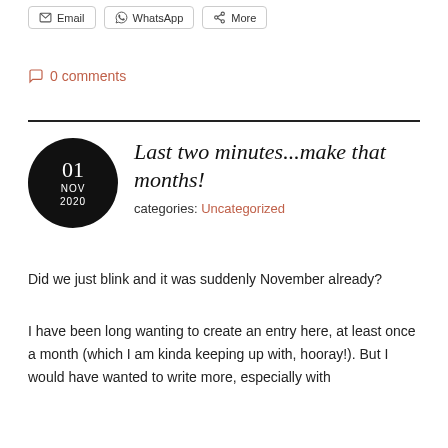Email | WhatsApp | More
0 comments
Last two minutes...make that months!
categories: Uncategorized
Did we just blink and it was suddenly November already?
I have been long wanting to create an entry here, at least once a month (which I am kinda keeping up with, hooray!). But I would have wanted to write more, especially with